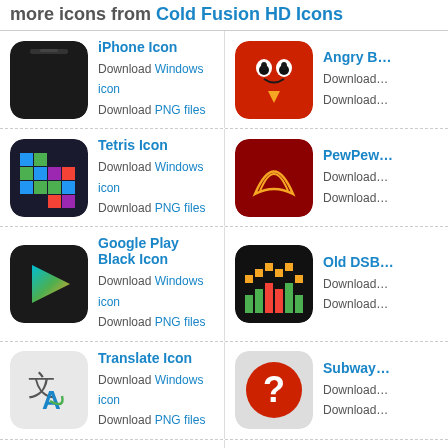more icons from Cold Fusion HD Icons
iPhone Icon - Download Windows icon, Download PNG files
Angry Birds Icon - Download Windows icon, Download PNG files
Tetris Icon - Download Windows icon, Download PNG files
PewPew Icon - Download Windows icon, Download PNG files
Google Play Black Icon - Download Windows icon, Download PNG files
Old DSB Icon - Download Windows icon, Download PNG files
Translate Icon - Download Windows icon, Download PNG files
Subway Icon - Download Windows icon, Download PNG files
Camera v2 Icon - Download Windows icon, Download PNG files
Music Icon - Download Windows icon, Download PNG files